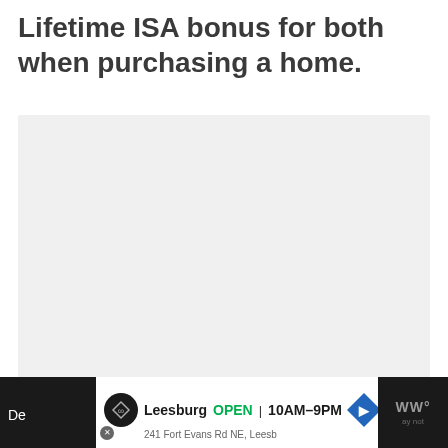Lifetime ISA bonus for both when purchasing a home.
[Figure (other): Loading placeholder box with three grey dots indicating content is loading]
Leesburg Premium Outlets
Leesburg OPEN 10AM–9PM
241 Fort Evans Rd NE, Leesb...